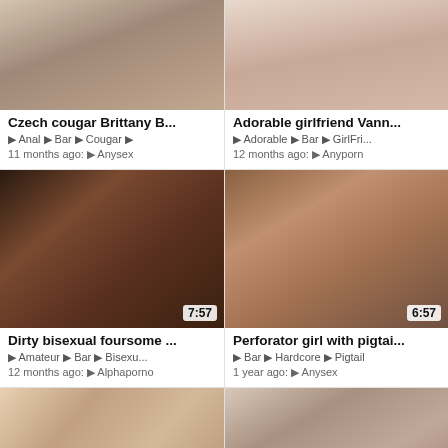[Figure (photo): Video thumbnail - Czech cougar Brittany B scene]
Czech cougar Brittany B...
Anal  Bar  Cougar ...
11 months ago:  Anysex
[Figure (photo): Video thumbnail - Adorable girlfriend Vann... scene]
Adorable girlfriend Vann...
Adorable  Bar  GirlFri...
12 months ago:  Anyporn
[Figure (photo): Video thumbnail 7:57 - Dirty bisexual foursome]
Dirty bisexual foursome ...
Amateur  Bar  Bisexu...
12 months ago:  Alphaporno
[Figure (photo): Video thumbnail 6:57 - Perforator girl with pigtails]
Perforator girl with pigtai...
Bar  Hardcore  Pigtail
1 year ago:  Anysex
[Figure (photo): Video thumbnail 6:58 - bottom left video]
[Figure (photo): Video thumbnail 7:59 - bottom right video]